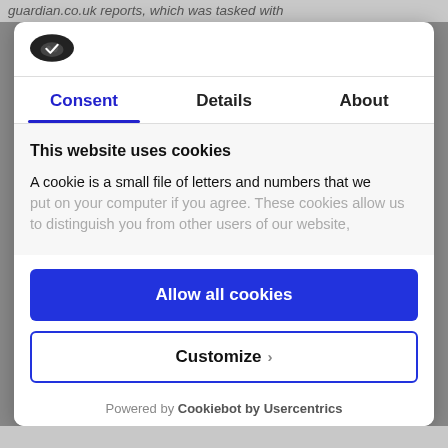guardian.co.uk reports, which was tasked with
[Figure (logo): Cookiebot logo — a dark oval badge with a checkmark/cookie icon]
Consent | Details | About
This website uses cookies
A cookie is a small file of letters and numbers that we put on your computer if you agree. These cookies allow us to distinguish you from other users of our website,
Allow all cookies
Customize ›
Powered by Cookiebot by Usercentrics